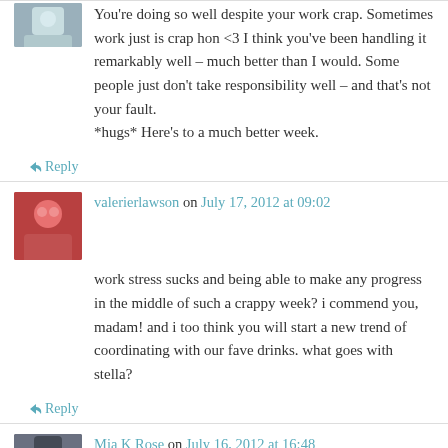[Figure (photo): Small avatar thumbnail of a person]
You're doing so well despite your work crap. Sometimes work just is crap hon <3 I think you've been handling it remarkably well – much better than I would. Some people just don't take responsibility well – and that's not your fault.
*hugs* Here's to a much better week.
↪ Reply
[Figure (photo): Avatar of valerierlawson, a woman with red hair smiling]
valerierlawson on July 17, 2012 at 09:02
work stress sucks and being able to make any progress in the middle of such a crappy week? i commend you, madam! and i too think you will start a new trend of coordinating with our fave drinks. what goes with stella?
↪ Reply
[Figure (photo): Avatar of Mia K Rose, person with dark hair]
Mia K Rose on July 16, 2012 at 16:48
Writing progress regardless of where it goes is also good. Nice to know you can find the time to relax and push it out of your mind. 🙂 Good luck submitting the short story.